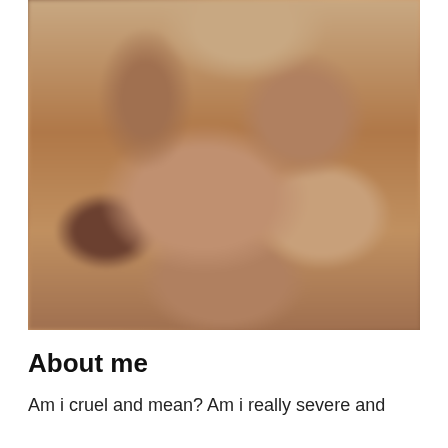[Figure (photo): A blurred artistic photograph of a person sitting cross-legged, shown from shoulders down, with warm brown tones.]
About me
Am i cruel and mean? Am i really severe and